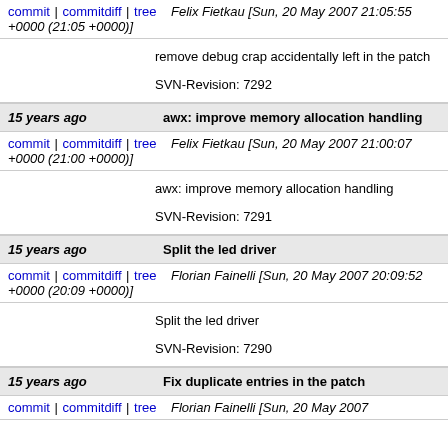commit | commitdiff | tree   Felix Fietkau [Sun, 20 May 2007 21:05:55 +0000 (21:05 +0000)]
remove debug crap accidentally left in the patch

SVN-Revision: 7292
15 years ago   awx: improve memory allocation handling
commit | commitdiff | tree   Felix Fietkau [Sun, 20 May 2007 21:00:07 +0000 (21:00 +0000)]
awx: improve memory allocation handling

SVN-Revision: 7291
15 years ago   Split the led driver
commit | commitdiff | tree   Florian Fainelli [Sun, 20 May 2007 20:09:52 +0000 (20:09 +0000)]
Split the led driver

SVN-Revision: 7290
15 years ago   Fix duplicate entries in the patch
commit | commitdiff | tree   Florian Fainelli [Sun, 20 May 2007